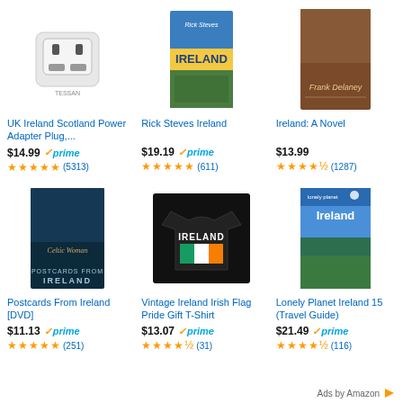[Figure (photo): UK Ireland Scotland Power Adapter Plug with USB ports]
UK Ireland Scotland Power Adapter Plug,...
$14.99 prime
★★★★★ (5313)
[Figure (photo): Rick Steves Ireland book cover]
Rick Steves Ireland
$19.19 prime
★★★★★ (611)
[Figure (photo): Ireland: A Novel by Frank Delaney book cover]
Ireland: A Novel
$13.99
★★★★½ (1287)
[Figure (photo): Postcards From Ireland DVD cover Celtic Woman]
Postcards From Ireland [DVD]
$11.13 prime
★★★★★ (251)
[Figure (photo): Vintage Ireland Irish Flag Pride Gift T-Shirt black]
Vintage Ireland Irish Flag Pride Gift T-Shirt
$13.07 prime
★★★★½ (31)
[Figure (photo): Lonely Planet Ireland 15 Travel Guide book cover]
Lonely Planet Ireland 15 (Travel Guide)
$21.49 prime
★★★★½ (116)
Ads by Amazon